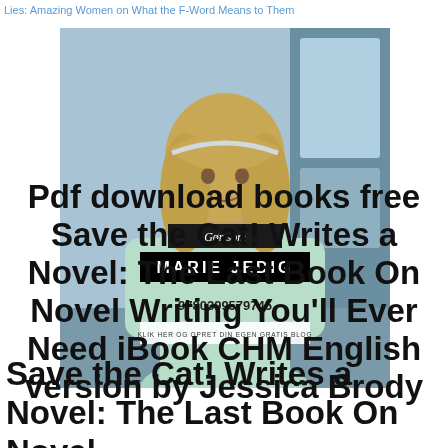Lies: Amazing Women on What the F-Word Means to Them
[Figure (photo): Photo of a young woman with long blonde hair wearing a mint/light green knit sweater, standing in front of a train or bus. Overlaid with text labels: 'Gør som', 'MARIE JEDIG', '9780399579745', and 'KLIK HER OG OPRET DIN EGEN GRATIS BLOG']
Pdf download books free Save the Cat! Writes a Novel: The Last Book On Novel Writing You'll Ever Need iBook CHM English version by Jessica Brody
Save the Cat! Writes a Novel: The Last Book On Novel